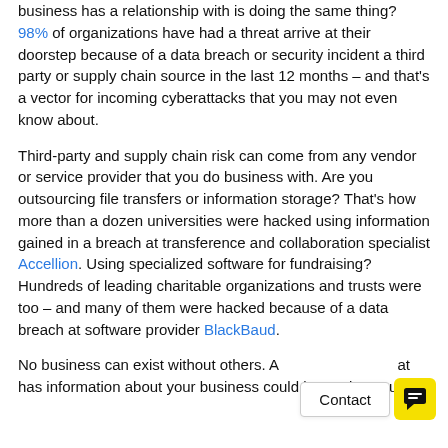business has a relationship with is doing the same thing? 98% of organizations have had a threat arrive at their doorstep because of a data breach or security incident a third party or supply chain source in the last 12 months – and that's a vector for incoming cyberattacks that you may not even know about.
Third-party and supply chain risk can come from any vendor or service provider that you do business with. Are you outsourcing file transfers or information storage? That's how more than a dozen universities were hacked using information gained in a breach at transference and collaboration specialist Accellion. Using specialized software for fundraising? Hundreds of leading charitable organizations and trusts were too – and many of them were hacked because of a data breach at software provider BlackBaud.
No business can exist without others. Any organization that has information about your business could be putting your